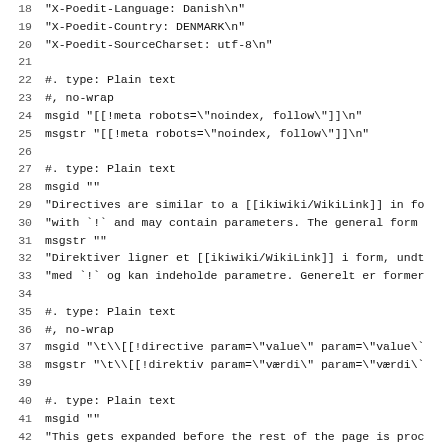Code listing lines 18-50 of a .po translation file for Danish locale (ikiwiki directives)